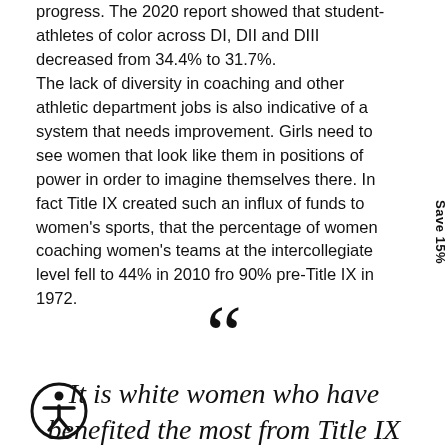progress. The 2020 report showed that student-athletes of color across DI, DII and DIII decreased from 34.4% to 31.7%.
The lack of diversity in coaching and other athletic department jobs is also indicative of a system that needs improvement. Girls need to see women that look like them in positions of power in order to imagine themselves there. In fact Title IX created such an influx of funds to women's sports, that the percentage of women coaching women's teams at the intercollegiate level fell to 44% in 2010 from 90% pre-Title IX in 1972.
It is white women who have benefited the most from Title IX provisions.